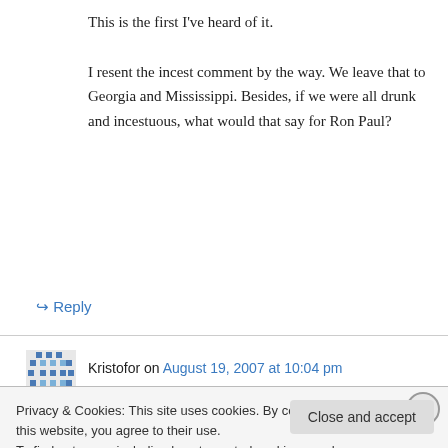This is the first I've heard of it.

I resent the incest comment by the way. We leave that to Georgia and Mississippi. Besides, if we were all drunk and incestuous, what would that say for Ron Paul?
↳ Reply
Kristofor on August 19, 2007 at 10:04 pm
With regard to Dion's comment. I think there
Privacy & Cookies: This site uses cookies. By continuing to use this website, you agree to their use.
To find out more, including how to control cookies, see here: Cookie Policy